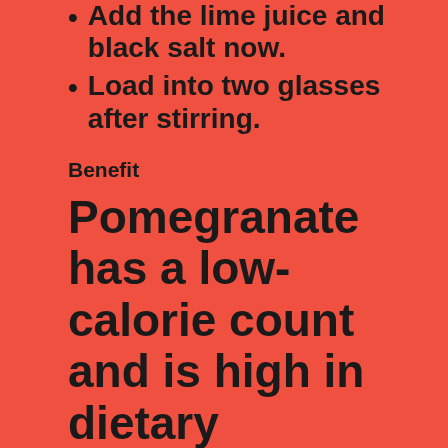Add the lime juice and black salt now.
Load into two glasses after stirring.
Benefit
Pomegranate has a low-calorie count and is high in dietary